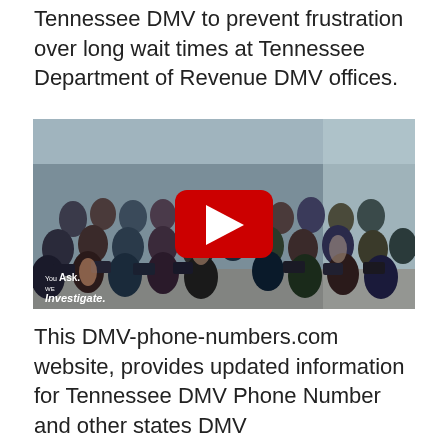Tennessee DMV to prevent frustration over long wait times at Tennessee Department of Revenue DMV offices.
[Figure (screenshot): YouTube video thumbnail showing a crowded DMV waiting room full of people seated in chairs. A red YouTube play button is centered on the image. Text in the lower left reads 'You Ask. We Investigate.']
This DMV-phone-numbers.com website, provides updated information for Tennessee DMV Phone Number and other states DMV